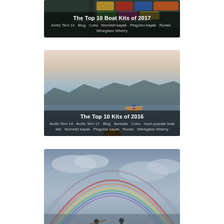[Figure (photo): Photo card: The Top 10 Boat Kits of 2017 — colorful kayaks/boats stored in a rack, partially visible. Dark overlay at bottom with title and tags. Watermark: FREYA FENNWOOD PHOTOGRAPHY]
[Figure (photo): Photo card: The Top 10 Kits of 2016 — a person paddling a wooden kayak on calm water at dusk/dawn, viewed from behind another kayak. Mountains visible on horizon. Dark overlay at bottom with title and tags.]
[Figure (photo): Photo card: Partial view — people in kayaks with a double rainbow visible in a cloudy sky. Card cropped at bottom of page.]